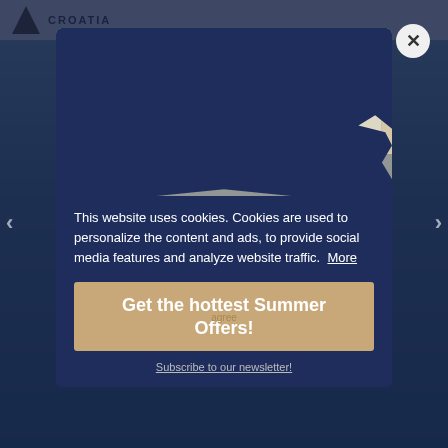CROATIA
[Figure (photo): Photo of Croatian coastal town with stone buildings, red tile roofs, green shutters, and hillside trees behind — possibly Dubrovnik or similar Dalmatian town. Image is partially visible within a rounded blob/shield shape.]
This website uses cookies. Cookies are used to personalize the content and ads, to provide social media features and analyze website traffic. More
agree
Get the hottest Summer Offers!
Subscribe to our newsletter!